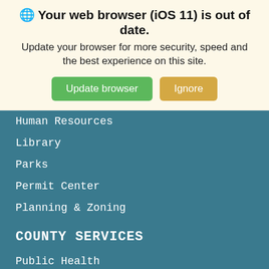[Figure (screenshot): Browser update banner warning: 'Your web browser (iOS 11) is out of date. Update your browser for more security, speed and the best experience on this site.' with Update browser (green) and Ignore (tan) buttons.]
Human Resources
Library
Parks
Permit Center
Planning & Zoning
COUNTY SERVICES
Public Health
Purchasing
Register of Deeds
Sheriff's Office
Social Services
Soil & Water Conservation
Solid Waste/Recycling
Tax
Technology